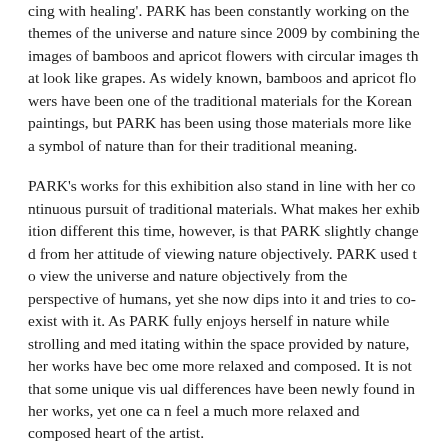cing with healing'. PARK has been constantly working on the themes of the universe and nature since 2009 by combining the images of bamboos and apricot flowers with circular images that look like grapes. As widely known, bamboos and apricot flowers have been one of the traditional materials for the Korean paintings, but PARK has been using those materials more like a symbol of nature than for their traditional meaning.
PARK's works for this exhibition also stand in line with her continuous pursuit of traditional materials. What makes her exhibition different this time, however, is that PARK slightly changed from her attitude of viewing nature objectively. PARK used to view the universe and nature objectively from the perspective of humans, yet she now dips into it and tries to co-exist with it. As PARK fully enjoys herself in nature while strolling and meditating within the space provided by nature, her works have become more relaxed and composed. It is not that some unique visual differences have been newly found in her works, yet one can feel a much more relaxed and composed heart of the artist.
In western landscape paintings, nature is viewed as objects; they focus on the part that falls on the artists' view and it becomes an object for painting. However, in oriental landscape painting...